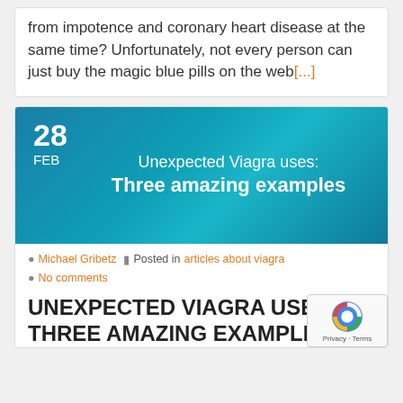from impotence and coronary heart disease at the same time? Unfortunately, not every person can just buy the magic blue pills on the web[...]
[Figure (illustration): Blog post banner with blue gradient background showing date '28 FEB' and title 'Unexpected Viagra uses: Three amazing examples']
Michael Gribetz  Posted in articles about viagra
No comments
UNEXPECTED VIAGRA USES: THREE AMAZING EXAMPLES